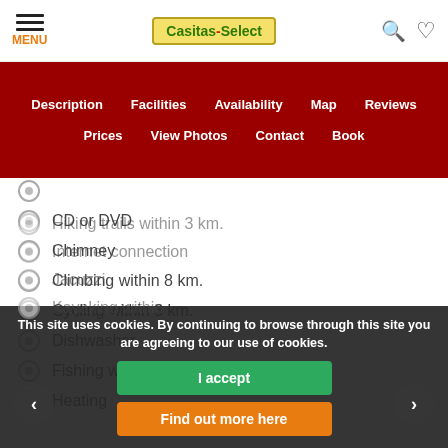MENU | Casitas-Select
Description | Facilities | Availability | Map | Reviews | Prices | View Photos | Contact | Book
CD or DVD
Chimney
Climbing within 8 km.
Cycling within 3 km.
Dishwasher
Fishing within 3 km.
Heating
Hiking trails within 3 km.
Internet connection
Jacuzzi
Kayaking within ...
This site uses cookies. By continuing to browse through this site you are agreeing to our use of cookies.
I accept
Find out more here